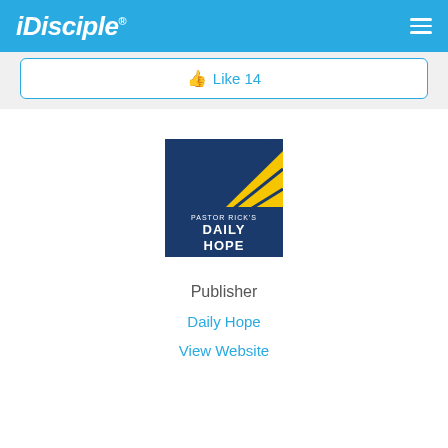iDisciple
Like 14
[Figure (logo): Pastor Rick's Daily Hope logo — dark blue background with yellow sunburst rays, text: PASTOR RICK'S DAILY HOPE]
Publisher
Daily Hope
View Website